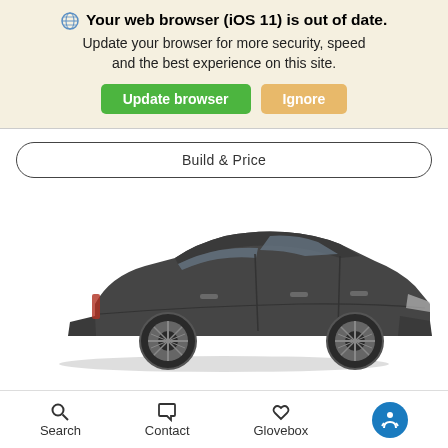Your web browser (iOS 11) is out of date. Update your browser for more security, speed and the best experience on this site.
Update browser | Ignore
Build & Price
[Figure (photo): Side profile view of a dark gray Ford Explorer SUV on a white background with a faint shadow beneath.]
Search  Contact  Glovebox  [Accessibility icon]